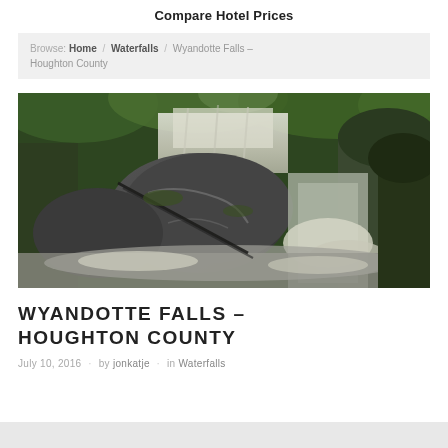Compare Hotel Prices
Browse: Home / Waterfalls / Wyandotte Falls – Houghton County
[Figure (photo): Photograph of Wyandotte Falls in Houghton County showing rushing whitewater cascading over and around large dark boulders, surrounded by lush green forest vegetation.]
WYANDOTTE FALLS – HOUGHTON COUNTY
July 10, 2016 · by jonkatje · in Waterfalls